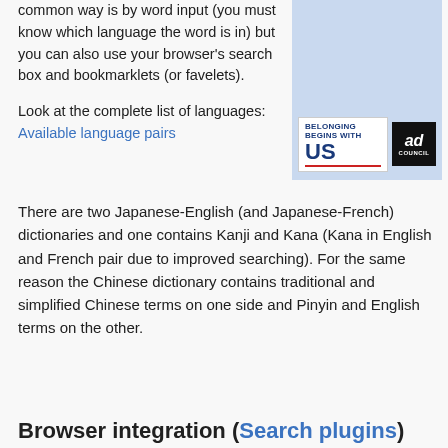common way is by word input (you must know which language the word is in) but you can also use your browser's search box and bookmarklets (or favelets).
[Figure (illustration): Advertisement banner: 'Belonging Begins With US' with Ad Council logo on light blue background]
Look at the complete list of languages: Available language pairs
There are two Japanese-English (and Japanese-French) dictionaries and one contains Kanji and Kana (Kana in English and French pair due to improved searching). For the same reason the Chinese dictionary contains traditional and simplified Chinese terms on one side and Pinyin and English terms on the other.
Browser integration (Search plugins)